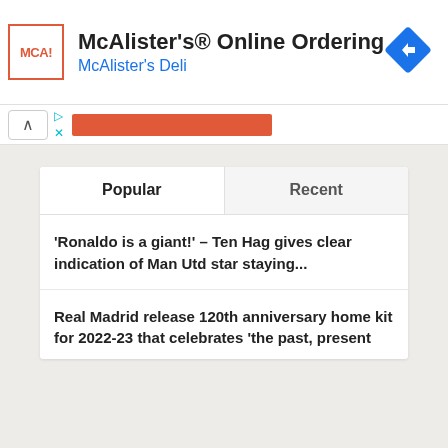[Figure (screenshot): McAlister's Online Ordering advertisement banner with McAI logo, blue navigation arrow icon, title 'McAlister's® Online Ordering' and subtitle 'McAlister's Deli' in blue]
McAlister's® Online Ordering
McAlister's Deli
Popular
Recent
'Ronaldo is a giant!' – Ten Hag gives clear indication of Man Utd star staying...
Real Madrid release 120th anniversary home kit for 2022-23 that celebrates 'the past, present